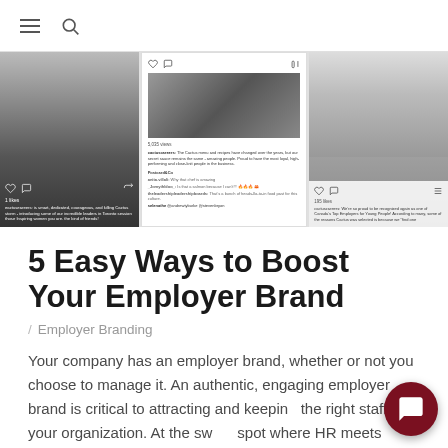Navigation header with hamburger menu and search icon
[Figure (photo): Three social media / Instagram-style panels showing restaurant staff and employer branding content. Left panel: black and white photo of two people embracing. Center panel: Instagram post with 5,036 views showing text about the Cactus menu and staff. Right panel: group photo of restaurant staff in white shirts and dark aprons.]
5 Easy Ways to Boost Your Employer Brand
/ Employer Branding
Your company has an employer brand, whether or not you choose to manage it. An authentic, engaging employer brand is critical to attracting and keeping the right staff for your organization. At the sweet spot where HR meets marketing, your employer